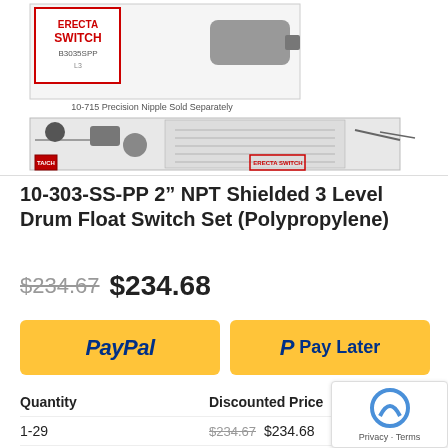[Figure (photo): Product photo showing Erecta Switch 10-303-SS-PP float switch set with technical drawing/schematic. Text visible: '10-715 Precision Nipple Sold Separately']
10-303-SS-PP 2" NPT Shielded 3 Level Drum Float Switch Set (Polypropylene)
$234.67 $234.68
[Figure (other): PayPal and Pay Later payment buttons (golden/yellow background with blue PayPal branding)]
| Quantity | Discounted Price |
| --- | --- |
| 1-29 | $234.67 $234.68 |
| 30 - 49 | $202.09 |